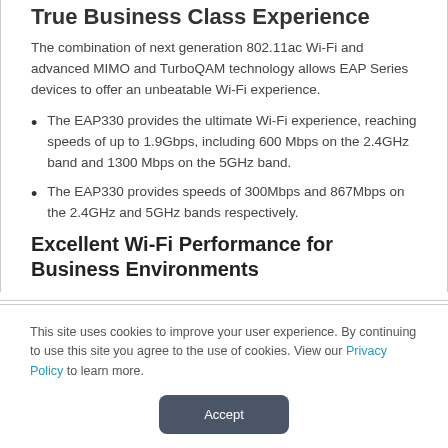True Business Class Experience
The combination of next generation 802.11ac Wi-Fi and advanced MIMO and TurboQAM technology allows EAP Series devices to offer an unbeatable Wi-Fi experience.
The EAP330 provides the ultimate Wi-Fi experience, reaching speeds of up to 1.9Gbps, including 600 Mbps on the 2.4GHz band and 1300 Mbps on the 5GHz band.
The EAP330 provides speeds of 300Mbps and 867Mbps on the 2.4GHz and 5GHz bands respectively.
Excellent Wi-Fi Performance for Business Environments
This site uses cookies to improve your user experience. By continuing to use this site you agree to the use of cookies. View our Privacy Policy to learn more.
Accept